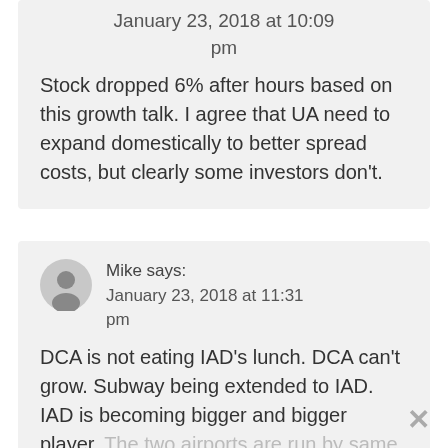January 23, 2018 at 10:09 pm
Stock dropped 6% after hours based on this growth talk. I agree that UA need to expand domestically to better spread costs, but clearly some investors don't.
Mike says:
January 23, 2018 at 11:31 pm
DCA is not eating IAD's lunch. DCA can't grow. Subway being extended to IAD. IAD is becoming bigger and bigger player. The two airports are run by same authority and work together. That said...